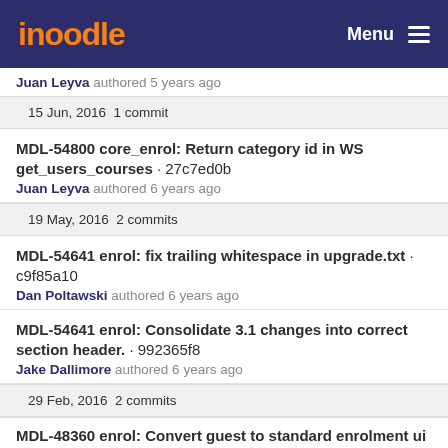moodle | Menu
Juan Leyva authored 5 years ago
15 Jun, 2016 1 commit
MDL-54800 core_enrol: Return category id in WS get_users_courses · 27c7ed0b
Juan Leyva authored 6 years ago
19 May, 2016 2 commits
MDL-54641 enrol: fix trailing whitespace in upgrade.txt · c9f85a10
Dan Poltawski authored 6 years ago
MDL-54641 enrol: Consolidate 3.1 changes into correct section header. · 992365f8
Jake Dallimore authored 6 years ago
29 Feb, 2016 2 commits
MDL-48360 enrol: Convert guest to standard enrolment ui